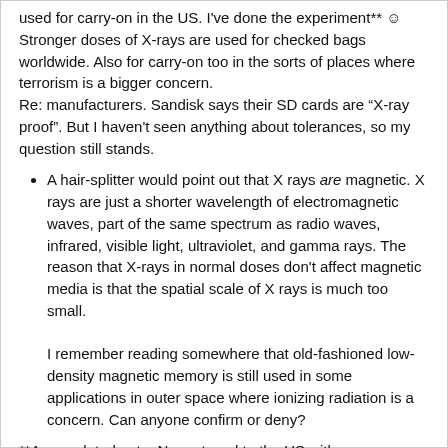used for carry-on in the US. I've done the experiment** ☺ Stronger doses of X-rays are used for checked bags worldwide. Also for carry-on too in the sorts of places where terrorism is a bigger concern.
Re: manufacturers. Sandisk says their SD cards are “X-ray proof”. But I haven't seen anything about tolerances, so my question still stands.
A hair-splitter would point out that X rays are magnetic. X rays are just a shorter wavelength of electromagnetic waves, part of the same spectrum as radio waves, infrared, visible light, ultraviolet, and gamma rays. The reason that X-rays in normal doses don't affect magnetic media is that the spatial scale of X rays is much too small.
I remember reading somewhere that old-fashioned low-density magnetic memory is still used in some applications in outer space where ionizing radiation is a concern. Can anyone confirm or deny?
**An unrelated note: Never travel to the US with your electronic devices powered up. It’s almost like handing over your passwords on a silver platter.